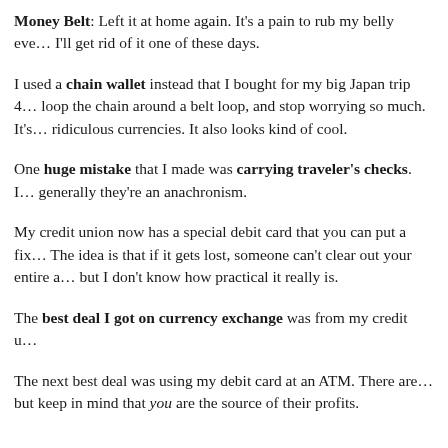Money Belt: Left it at home again. It's a pain to rub my belly eve… I'll get rid of it one of these days.
I used a chain wallet instead that I bought for my big Japan trip 4… loop the chain around a belt loop, and stop worrying so much. It's… ridiculous currencies. It also looks kind of cool.
One huge mistake that I made was carrying traveler's checks. I… generally they're an anachronism.
My credit union now has a special debit card that you can put a fix… The idea is that if it gets lost, someone can't clear out your entire a… but I don't know how practical it really is.
The best deal I got on currency exchange was from my credit u…
The next best deal was using my debit card at an ATM. There are… but keep in mind that you are the source of their profits.